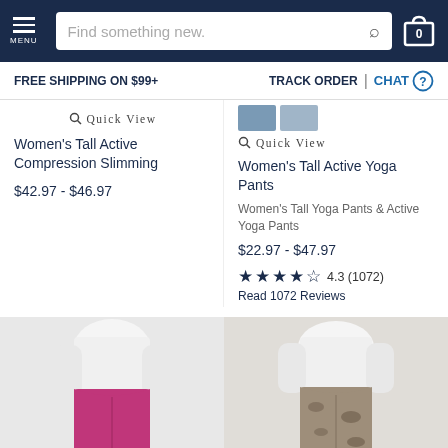MENU | Find something new. | 0
FREE SHIPPING ON $99+ | TRACK ORDER | CHAT
QUICK VIEW
Women's Tall Active Compression Slimming
$42.97 - $46.97
QUICK VIEW
Women's Tall Active Yoga Pants
Women's Tall Yoga Pants & Active Yoga Pants
$22.97 - $47.97
4.3 (1072)
Read 1072 Reviews
[Figure (photo): Woman wearing white long-sleeve top and pink/magenta yoga pants/leggings, cropped at torso]
[Figure (photo): Woman wearing white top and brown/tan camouflage print leggings, cropped at torso]